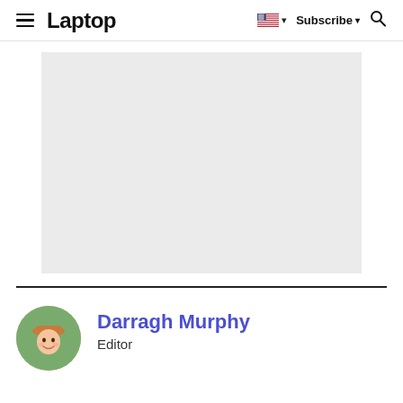Laptop
[Figure (other): Advertisement placeholder — light grey rectangle]
Darragh Murphy
Editor